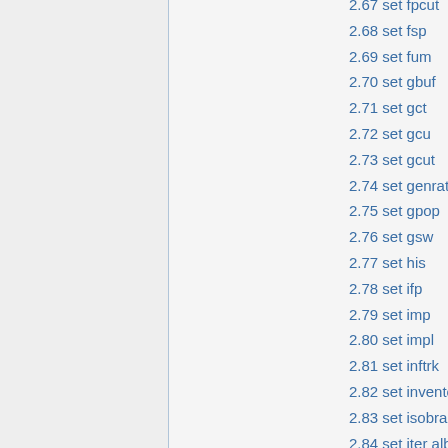2.67 set fpcut
2.68 set fsp
2.69 set fum
2.70 set gbuf
2.71 set gct
2.72 set gcu
2.73 set gcut
2.74 set genrate
2.75 set gpop
2.76 set gsw
2.77 set his
2.78 set ifp
2.79 set imp
2.80 set impl
2.81 set inftrk
2.82 set inventory
2.83 set isobra
2.84 set iter alb
2.85 set iter nuc
2.86 set keff